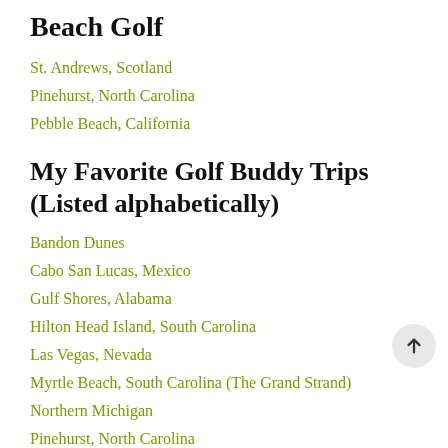Beach Golf
St. Andrews, Scotland
Pinehurst, North Carolina
Pebble Beach, California
My Favorite Golf Buddy Trips (Listed alphabetically)
Bandon Dunes
Cabo San Lucas, Mexico
Gulf Shores, Alabama
Hilton Head Island, South Carolina
Las Vegas, Nevada
Myrtle Beach, South Carolina (The Grand Strand)
Northern Michigan
Pinehurst, North Carolina
Scottsdale, Arizona
St. Andrews, Scotland